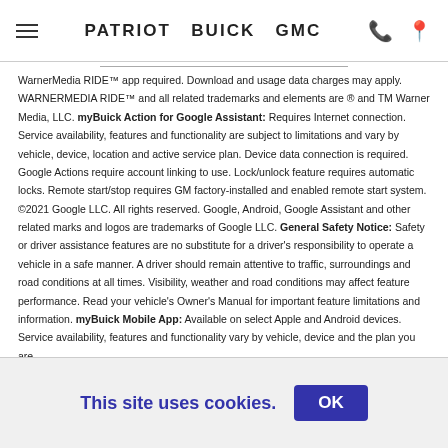PATRIOT BUICK GMC
WarnerMedia RIDE™ app required. Download and usage data charges may apply. WARNERMEDIA RIDE™ and all related trademarks and elements are ® and TM Warner Media, LLC. myBuick Action for Google Assistant: Requires Internet connection. Service availability, features and functionality are subject to limitations and vary by vehicle, device, location and active service plan. Device data connection is required. Google Actions require account linking to use. Lock/unlock feature requires automatic locks. Remote start/stop requires GM factory-installed and enabled remote start system. ©2021 Google LLC. All rights reserved. Google, Android, Google Assistant and other related marks and logos are trademarks of Google LLC. General Safety Notice: Safety or driver assistance features are no substitute for a driver's responsibility to operate a vehicle in a safe manner. A driver should remain attentive to traffic, surroundings and road conditions at all times. Visibility, weather and road conditions may affect feature performance. Read your vehicle's Owner's Manual for important feature limitations and information. myBuick Mobile App: Available on select Apple and Android devices. Service availability, features and functionality vary by vehicle, device and the plan you are
This site uses cookies.